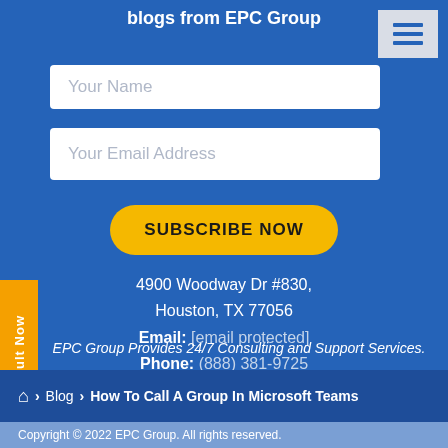blogs from EPC Group
[Figure (screenshot): Navigation menu hamburger icon button (three horizontal lines) in a light gray box]
Your Name
Your Email Address
SUBSCRIBE NOW
4900 Woodway Dr #830,
Houston, TX 77056
Email: [email protected]
Phone: (888) 381-9725
Consult Now
EPC Group Provides 24/7 Consulting and Support Services.
🏠 > Blog > How To Call A Group In Microsoft Teams
Copyright © 2022 EPC Group. All rights reserved.